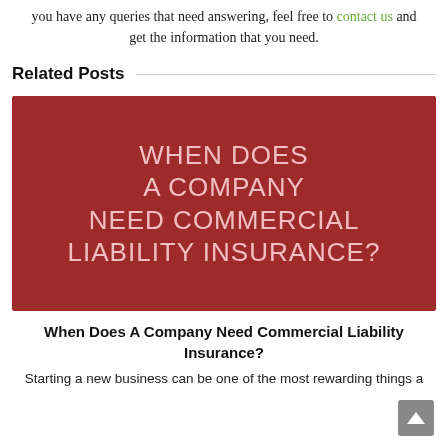you have any queries that need answering, feel free to contact us and get the information that you need.
Related Posts
[Figure (illustration): Dark red/crimson banner image with large light pink/white text reading: WHEN DOES A COMPANY NEED COMMERCIAL LIABILITY INSURANCE?]
When Does A Company Need Commercial Liability Insurance?
Starting a new business can be one of the most rewarding things a